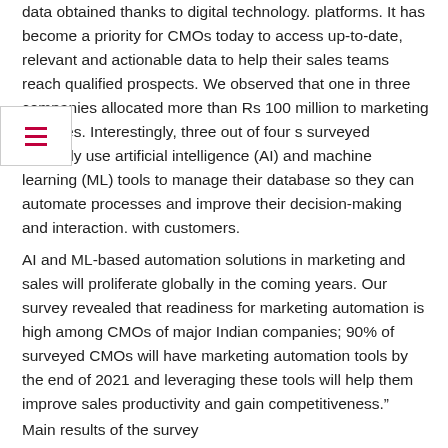data obtained thanks to digital technology. platforms. It has become a priority for CMOs today to access up-to-date, relevant and actionable data to help their sales teams reach qualified prospects. We observed that one in three companies allocated more than Rs 100 million to marketing activities. Interestingly, three out of four s surveyed currently use artificial intelligence (AI) and machine learning (ML) tools to manage their database so they can automate processes and improve their decision-making and interaction. with customers.
AI and ML-based automation solutions in marketing and sales will proliferate globally in the coming years. Our survey revealed that readiness for marketing automation is high among CMOs of major Indian companies; 90% of surveyed CMOs will have marketing automation tools by the end of 2021 and leveraging these tools will help them improve sales productivity and gain competitiveness.”
Main results of the survey